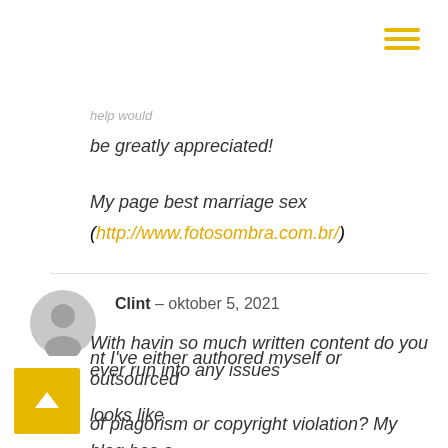[Figure (other): Hamburger menu icon with three yellow horizontal bars in top-right corner]
help would
be greatly appreciated!
My page best marriage sex
(http://www.fotosombra.com.br/)
Clint – oktober 5, 2021
With havin so much written content do you ever run into any issues of plagorism or copyright violation? My blog has a lot of completely unique nt I've either authored myself or outsourced looks like